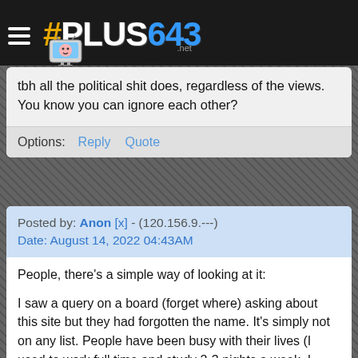#PLUS643 .net
tbh all the political shit does, regardless of the views. You know you can ignore each other?
Options:   Reply   Quote
Posted by: Anon [x] - (120.156.9.---)
Date: August 14, 2022 04:43AM
People, there's a simple way of looking at it:

I saw a query on a board (forget where) asking about this site but they had forgotten the name. It's simply not on any list. People have been busy with their lives (I used to work full time and study 2-3 nights a week, I would never have come here then, yet four of my uploads are in the top 12 top rated). If they left an email, is there any term of service preventing you contacting them?